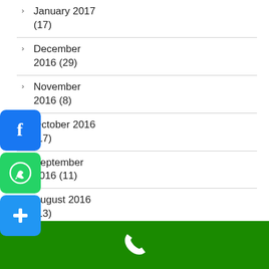January 2017 (17)
December 2016 (29)
November 2016 (8)
October 2016 (17)
September 2016 (11)
August 2016 (13)
July 2016
[Figure (screenshot): Social share buttons: Facebook (blue), WhatsApp (green), AddThis (blue plus)]
[Figure (screenshot): Green phone call bar at bottom of screen with white phone icon]